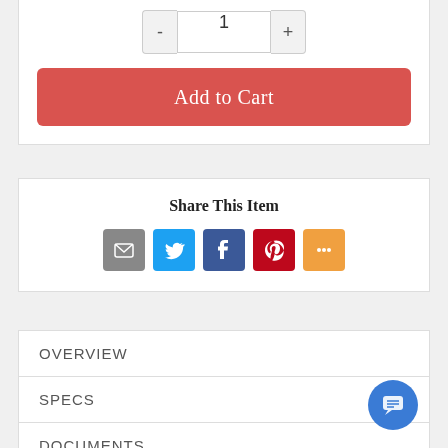[Figure (screenshot): Quantity selector with minus button, input showing '1', and plus button]
[Figure (screenshot): Red 'Add to Cart' button]
Share This Item
[Figure (infographic): Social share icons: Email (grey), Twitter (blue), Facebook (blue), Pinterest (red), More (orange)]
OVERVIEW
SPECS
DOCUMENTS